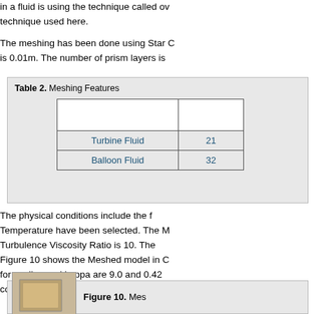in a fluid is using the technique called ov technique used here.
The meshing has been done using Star C is 0.01m. The number of prism layers is
|  |  |
| --- | --- |
| Turbine Fluid | 21 |
| Balloon Fluid | 32 |
The physical conditions include the f Temperature have been selected. The M Turbulence Viscosity Ratio is 10. The Figure 10 shows the Meshed model in C for epsilon and kappa are 9.0 and 0.42 conditions, the continuum values have b
[Figure (photo): Figure 10. Meshed model photo]
Figure 10. Mes